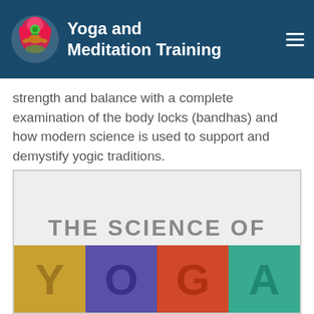Yoga and Meditation Training
strength and balance with a complete examination of the body locks (bandhas) and how modern science is used to support and demystify yogic traditions.
[Figure (illustration): Book cover for 'The Science of Yoga' shown partially, with large colored letter blocks spelling YOGA on a light grey background. The text 'THE SCIENCE OF' appears above the letters in grey.]